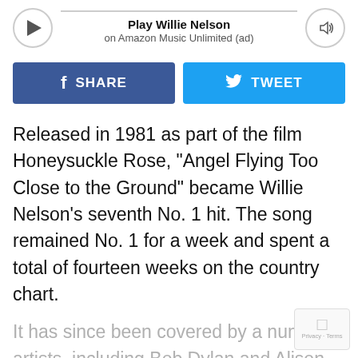[Figure (other): Audio player bar with play button, 'Play Willie Nelson' title, 'on Amazon Music Unlimited (ad)' subtitle, progress line, and volume button]
[Figure (other): Social sharing buttons: blue Facebook SHARE button and light blue Twitter TWEET button]
Released in 1981 as part of the film Honeysuckle Rose, “Angel Flying Too Close to the Ground” became Willie Nelson’s seventh No. 1 hit. The song remained No. 1 for a week and spent a total of fourteen weeks on the country chart.
It has since been covered by a numbe… artists, including Bob Dylan and Alison…